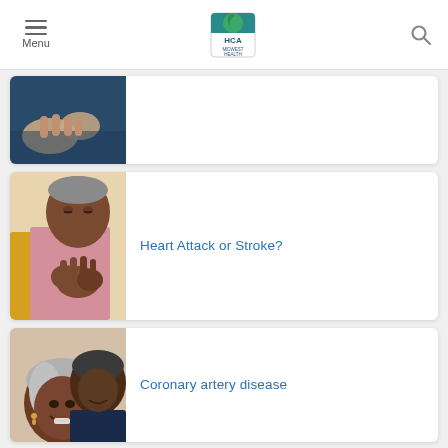Menu | HCA Midwest Health | Search
[Figure (photo): Partial view of a person's hands, possibly receiving care or holding something, cropped top card]
[Figure (photo): Older Black man sitting with hands clasped near face, looking distressed, woman in yellow beside him]
Heart Attack or Stroke?
[Figure (photo): Older Black woman smiling, older Black man behind her, both looking happy]
Coronary artery disease